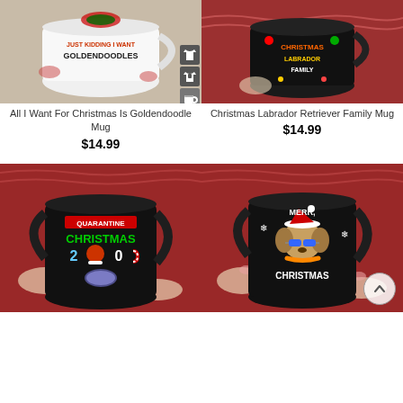[Figure (photo): Woman holding a white mug that reads 'Just Kidding I Want Goldendoodles' with Christmas decorations, product type icons on side]
[Figure (photo): Person in red sweater holding a black mug with 'Christmas Labrador Retriever Family' design and colorful festive graphics]
All I Want For Christmas Is Goldendoodle Mug
$14.99
Christmas Labrador Retriever Family Mug
$14.99
[Figure (photo): Hands holding a black mug with 'Quarantine Christmas 2020' design featuring a Santa mask and candy cane]
[Figure (photo): Hands holding a black mug with 'Merry Christmas' design featuring a dog wearing sunglasses and Santa hat, scroll-to-top button visible]